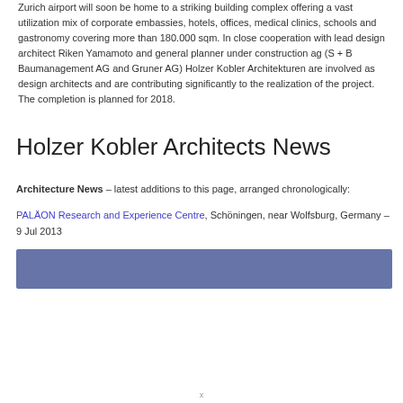Zurich airport will soon be home to a striking building complex offering a vast utilization mix of corporate embassies, hotels, offices, medical clinics, schools and gastronomy covering more than 180.000 sqm. In close cooperation with lead design architect Riken Yamamoto and general planner under construction ag (S + B Baumanagement AG and Gruner AG) Holzer Kobler Architekturen are involved as design architects and are contributing significantly to the realization of the project. The completion is planned for 2018.
Holzer Kobler Architects News
Architecture News – latest additions to this page, arranged chronologically:
PALÄON Research and Experience Centre, Schöningen, near Wolfsburg, Germany – 9 Jul 2013
[Figure (other): Blue/slate colored rectangular bar, partially visible image placeholder]
x